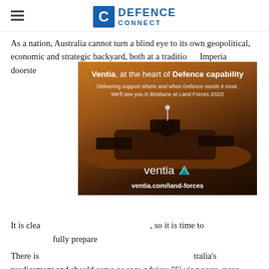Defence Connect
As a nation, Australia cannot turn a blind eye to its own geopolitical, economic and strategic backyard, both at a traditional [obscured by ad] Imperial [obscured by ad] doorste[obscured by ad]
[Figure (other): Ventia advertisement: 'Ventia, at the heart of Defence capability. Delivering support where and when Defence needs it most. We'll see you in Brisbane at Land Forces 2022! ventia.com/land-forces' with military vehicle silhouette at sunset background and Ventia logo.]
It is clea[obscured], so it is time to [obscured] fully prepare[obscured]
There is [obscured] tralia's predicament and should serve as sage advice: "Si vis pacem, para bellum" – "If you want peace, prepare for war".
Get involved with the discussion and let us know your though[obscured] h at Step[obscured]
[Figure (other): Thales advertisement: 'THALES Building a future we can all trust' with soldier imagery.]
editor@defenceconnect.com.au.